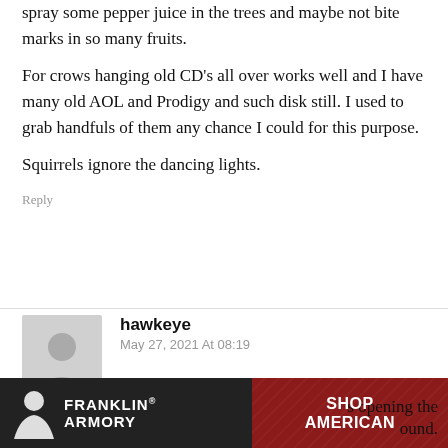spray some pepper juice in the trees and maybe not bite marks in so many fruits.
For crows hanging old CD's all over works well and I have many old AOL and Prodigy and such disk still. I used to grab handfuls of them any chance I could for this purpose.

Squirrels ignore the dancing lights.
Reply
hawkeye
May 27, 2021 At 08:19
I mix this in with birdseed—very effective at discouraging squirrels and raccoons from ravaging the feeders. It's dangerously hot opening the ound.
[Figure (photo): Franklin Armory advertisement banner with logo on dark background and 'SHOP AMERICAN' text on red background]